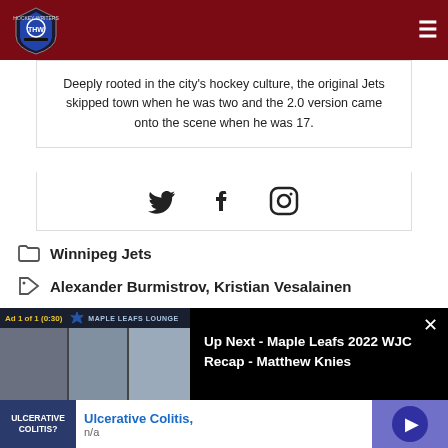THW - The Hockey Writers
Deeply rooted in the city's hockey culture, the original Jets skipped town when he was two and the 2.0 version came onto the scene when he was 17.
[Figure (other): Social media icons: Twitter bird, Facebook f, Instagram camera]
Winnipeg Jets
Alexander Burmistrov, Kristian Vesalainen
[Figure (screenshot): Video player overlay: Ad 1 of 1 (0:30) Maple Leafs Lounge. Up Next - Maple Leafs 2022 WJC Recap - Matthew Knies]
[Figure (other): Bottom advertisement: Ulcerative Colitis? n/a with play button]